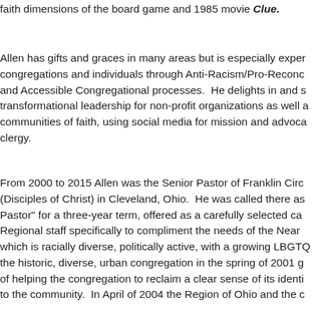faith dimensions of the board game and 1985 movie Clue.
Allen has gifts and graces in many areas but is especially experienced in guiding congregations and individuals through Anti-Racism/Pro-Reconciliation and Accessible Congregational processes. He delights in and supports transformational leadership for non-profit organizations as well as communities of faith, using social media for mission and advocacy, and clergy.
From 2000 to 2015 Allen was the Senior Pastor of Franklin Circle (Disciples of Christ) in Cleveland, Ohio. He was called there as "Pastor" for a three-year term, offered as a carefully selected candidate by Regional staff specifically to compliment the needs of the Near West Side which is racially diverse, politically active, with a growing LGBTQ+ community. The historic, diverse, urban congregation in the spring of 2001 gave Allen the task of helping the congregation to reclaim a clear sense of its identity in relation to the community. In April of 2004 the Region of Ohio and the c